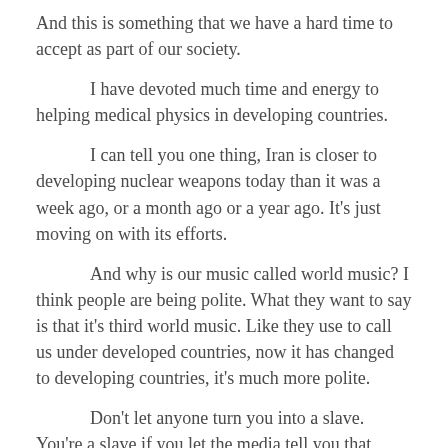And this is something that we have a hard time to accept as part of our society.
I have devoted much time and energy to helping medical physics in developing countries.
I can tell you one thing, Iran is closer to developing nuclear weapons today than it was a week ago, or a month ago or a year ago. It's just moving on with its efforts.
And why is our music called world music? I think people are being polite. What they want to say is that it's third world music. Like they use to call us under developed countries, now it has changed to developing countries, it's much more polite.
Don't let anyone turn you into a slave. You're a slave if you let the media tell you that sports and entertainment are more important than developing